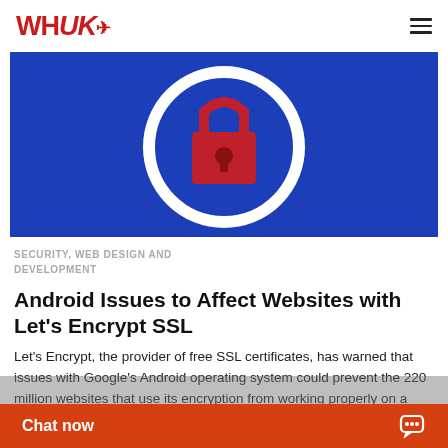WHUK
[Figure (illustration): Blue background with a white circle containing a red padlock/lock icon in the center, representing SSL/security concept]
SECURITY, WEB DESIGN AND DEVELOPMENT
Android Issues to Affect Websites with Let's Encrypt SSL
Let's Encrypt, the provider of free SSL certificates, has warned that issues with Google's Android operating system could prevent the 220 million websites that use its encryption from working properly on a third of Let's Encrypt's free
Chat now